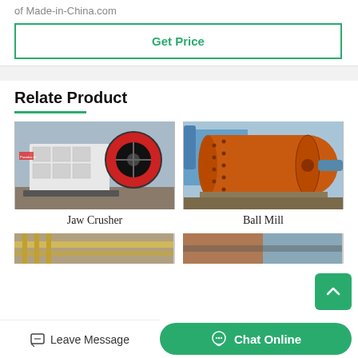of Made-in-China.com
Get Price
Relate Product
[Figure (photo): Jaw Crusher industrial machine, white metal frame with large red and black flywheel, in a factory setting]
Jaw Crusher
[Figure (photo): Ball Mill industrial machine, large orange cylindrical drum with bolted flanges, in outdoor or factory setting]
Ball Mill
[Figure (photo): Partially visible industrial equipment at bottom of page]
[Figure (photo): Partially visible industrial equipment at bottom of page, right side]
Leave Message
Chat Online